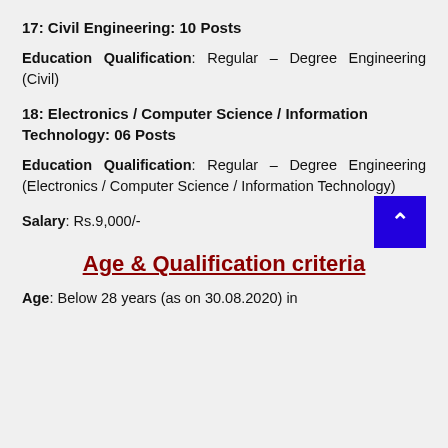17: Civil Engineering: 10 Posts
Education Qualification: Regular – Degree Engineering (Civil)
18: Electronics / Computer Science / Information Technology: 06 Posts
Education Qualification: Regular – Degree Engineering (Electronics / Computer Science / Information Technology)
Salary: Rs.9,000/-
Age & Qualification criteria
Age: Below 28 years (as on 30.08.2020) in